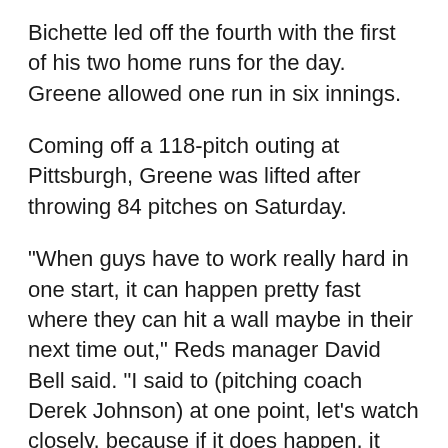Bichette led off the fourth with the first of his two home runs for the day. Greene allowed one run in six innings.
Coming off a 118-pitch outing at Pittsburgh, Greene was lifted after throwing 84 pitches on Saturday.
"When guys have to work really hard in one start, it can happen pretty fast where they can hit a wall maybe in their next time out," Reds manager David Bell said. "I said to (pitching coach Derek Johnson) at one point, let's watch closely, because if it does happen, it could happen quickly. Taking (Greene) to the limit there